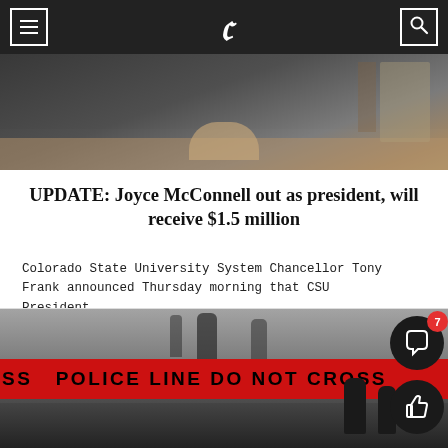The Collegian — navigation header with logo (C) and menu/search icons
[Figure (photo): Person seated at a desk with hands clasped, bookshelves in background, dark clothing]
UPDATE: Joyce McConnell out as president, will receive $1.5 million
Colorado State University System Chancellor Tony Frank announced Thursday morning that CSU President...
[Figure (photo): Police line do not cross tape in red with silhouettes of people in background, blurred scene]